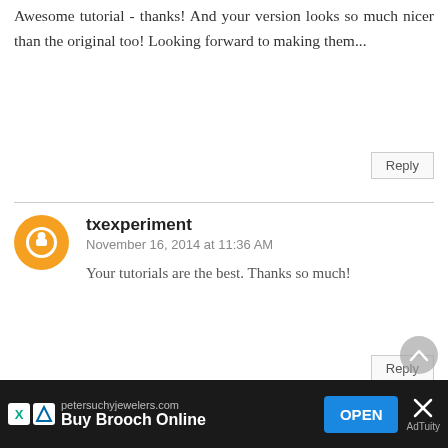Awesome tutorial - thanks! And your version looks so much nicer than the original too! Looking forward to making them...
Reply
txexperiment
November 16, 2014 at 11:36 AM
Your tutorials are the best. Thanks so much!
Reply
Laura
December 29, 2015 at 8:55 AM
Very cute! I can see forming them around a pen to get a more even and different size loop.
[Figure (other): Advertisement bar: petersuchyjewelers.com - Buy Brooch Online - OPEN button]